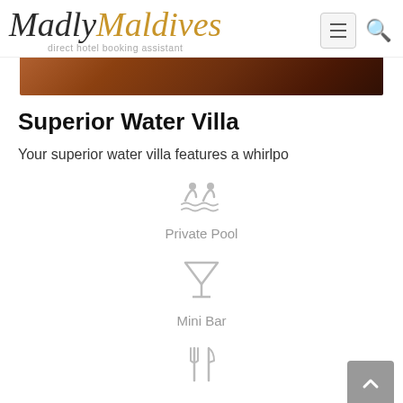MadlyMaldives – direct hotel booking assistant
[Figure (photo): Partial photo of a water villa interior/exterior with wooden beams, warm brown tones]
Superior Water Villa
Your superior water villa features a whirlpo
[Figure (illustration): Pool/swimming icon (gray)]
Private Pool
[Figure (illustration): Cocktail/bar glass icon (gray)]
Mini Bar
[Figure (illustration): Fork and knife/dining icon (gray)]